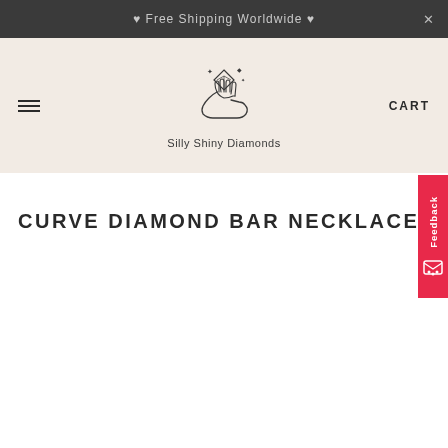♥ Free Shipping Worldwide ♥
[Figure (logo): Silly Shiny Diamonds logo: a hand holding a diamond with sparkles, line art style]
CURVE DIAMOND BAR NECKLACE